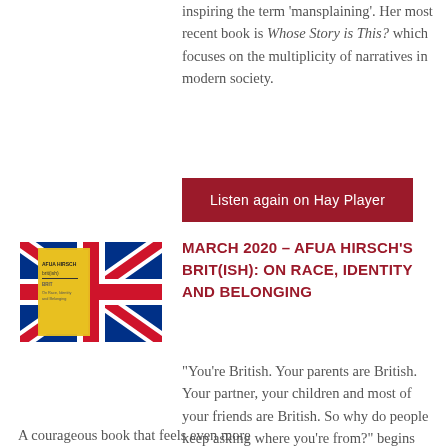inspiring the term 'mansplaining'. Her most recent book is Whose Story is This? which focuses on the multiplicity of narratives in modern society.
Listen again on Hay Player
[Figure (photo): Book cover of Brit(ish) by Afua Hirsch, showing a Union Jack flag background with the book title and author name]
MARCH 2020 – AFUA HIRSCH'S BRIT(ISH): ON RACE, IDENTITY AND BELONGING
"You're British. Your parents are British. Your partner, your children and most of your friends are British. So why do people keep asking where you're from?" begins Hirsch in her personal and provocative exploration of Britain, its imperial past and the racism that plagues its present.
A courageous book that feels even more